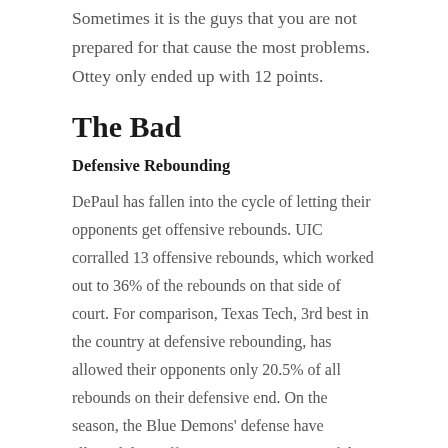Sometimes it is the guys that you are not prepared for that cause the most problems.  Ottey only ended up with 12 points.
The Bad
Defensive Rebounding
DePaul has fallen into the cycle of letting their opponents get offensive rebounds.  UIC corralled 13 offensive rebounds, which worked out to 36% of the rebounds on that side of court.  For comparison, Texas Tech, 3rd best in the country at defensive rebounding, has allowed their opponents only 20.5% of all rebounds on their defensive end.  On the season, the Blue Demons' defense have allowed their offensive opponents 31% of the rebounds.  Buffalo got 36%, Tech got 21%, Minnesota got 45.7%, which was why the